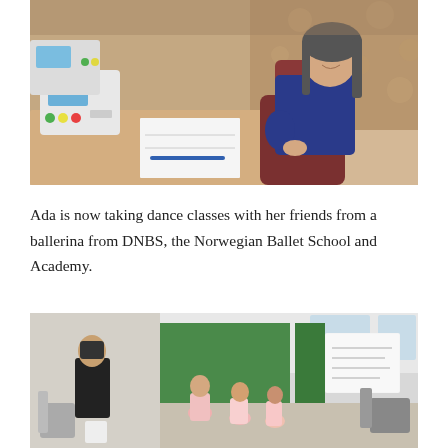[Figure (photo): A woman with long hair wearing a dark blue top sits at a desk with medical/electronic devices (monitors with buttons and screens) in what appears to be a clinic or classroom setting. There is a notebook and pen on the desk in front of her.]
Ada is now taking dance classes with her friends from a ballerina from DNBS, the Norwegian Ballet School and Academy.
[Figure (photo): A dance class in a room with a green screen/curtain backdrop. A woman in black stands to the left while several young children (toddlers/preschoolers) in pink dance outfits move around on the floor. A whiteboard is visible on the right side of the room.]